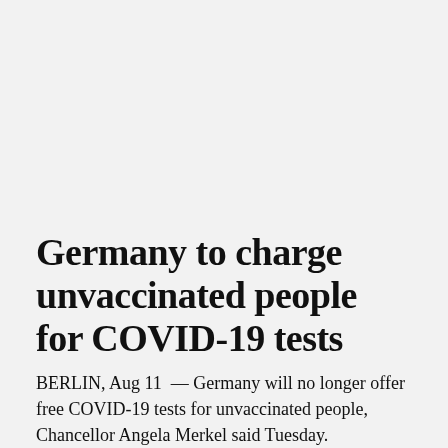Germany to charge unvaccinated people for COVID-19 tests
BERLIN, Aug 11 — Germany will no longer offer free COVID-19 tests for unvaccinated people, Chancellor Angela Merkel said Tuesday.